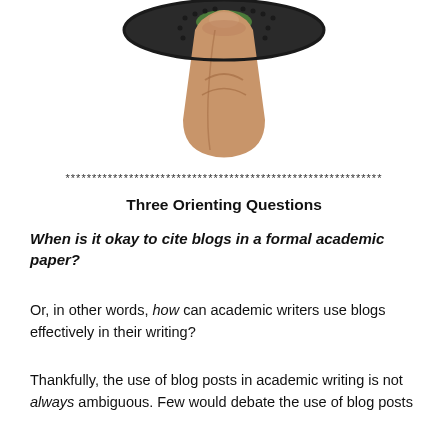[Figure (photo): A finger pressing down on what appears to be a button or device, viewed from above. The device is dark/black colored with a dotted pattern and a green element visible.]
************************************************************
Three Orienting Questions
When is it okay to cite blogs in a formal academic paper?
Or, in other words, how can academic writers use blogs effectively in their writing?
Thankfully, the use of blog posts in academic writing is not always ambiguous. Few would debate the use of blog posts